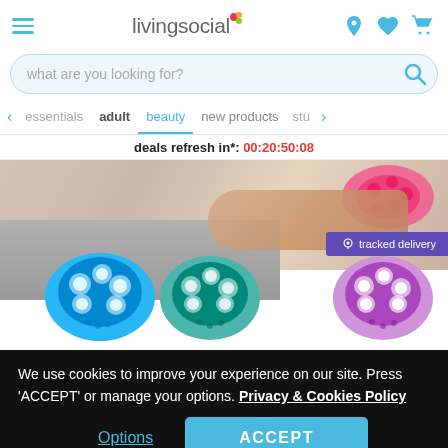livingsocial
what are you looking for?
essentials  adult  beauty  new products  stu
deals refresh in*: 00:20:50:08
[Figure (photo): Woman using a pink body massage roller on her torso, with blue, teal, and purple mini massage ball rollers in the foreground. A purple 'tracked delivery' badge is visible on the right side.]
We use cookies to improve your experience on our site. Press 'ACCEPT' or manage your options. Privacy & Cookies Policy
Options   ACCEPT